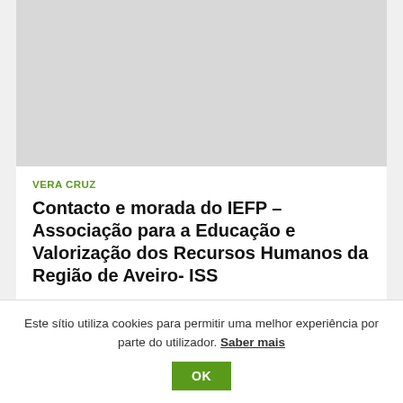[Figure (photo): Gray placeholder image at top of article card]
VERA CRUZ
Contacto e morada do IEFP – Associação para a Educação e Valorização dos Recursos Humanos da Região de Aveiro- ISS
Informações sobre Instituto do Emprego e Formação Profissional (IEFP) em Vera Cruz.... Ver mais
Este sítio utiliza cookies para permitir uma melhor experiência por parte do utilizador. Saber mais OK